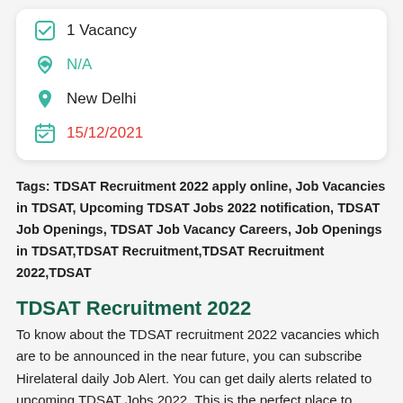1 Vacancy
N/A
New Delhi
15/12/2021
Tags: TDSAT Recruitment 2022 apply online, Job Vacancies in TDSAT, Upcoming TDSAT Jobs 2022 notification, TDSAT Job Openings, TDSAT Job Vacancy Careers, Job Openings in TDSAT,TDSAT Recruitment,TDSAT Recruitment 2022,TDSAT
TDSAT Recruitment 2022
To know about the TDSAT recruitment 2022 vacancies which are to be announced in the near future, you can subscribe Hirelateral daily Job Alert. You can get daily alerts related to upcoming TDSAT Jobs 2022. This is the perfect place to gather all the essential